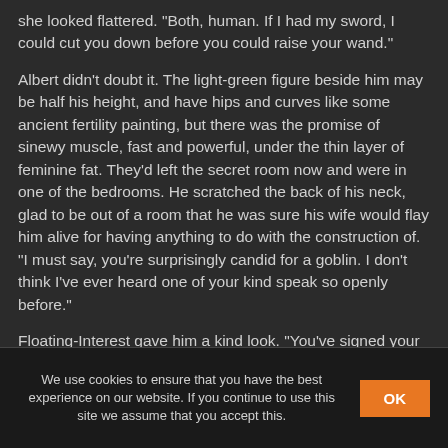she looked flattered. "Both, human. If I had my sword, I could cut you down before you could raise your wand."
Albert didn't doubt it. The light-green figure beside him may be half his height, and have hips and curves like some ancient fertility painting, but there was the promise of sinewy muscle, fast and powerful, under the thin layer of feminine fat. They'd left the secret room now and were in one of the bedrooms. He scratched the back of his neck, glad to be out of a room that he was sure his wife would flay him alive for having anything to do with the construction of. "I must say, you're surprisingly candid for a goblin. I don't think I've ever heard one of your kind speak so openly before."
Floating-Interest gave him a kind look. "You've signed your
We use cookies to ensure that you have the best experience on our website. If you continue to use this site we assume that you accept this.